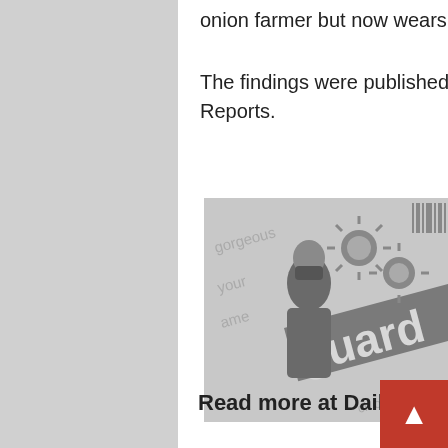onion farmer but now wears a mask.
The findings were published in the journal Respiratory Medicine Case Reports.
[Figure (photo): Grayscale photo of a newspaper or magazine page showing coronavirus imagery (flower-like virus particles) and a person wearing a mask, with partial text reading 'gorgeous', 'your', 'ame', 'guard', 'ck on the m'. The publication appears to be The Guardian.]
Read more at DailyMail.co.uk